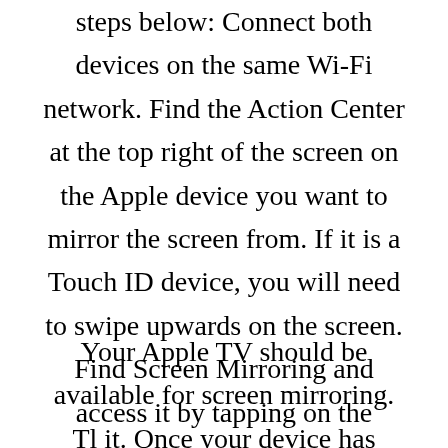steps below: Connect both devices on the same Wi-Fi network. Find the Action Center at the top right of the screen on the Apple device you want to mirror the screen from. If it is a Touch ID device, you will need to swipe upwards on the screen. Find Screen Mirroring and access it by tapping on the screen.
Your Apple TV should be available for screen mirroring. Tl it. Once your device has